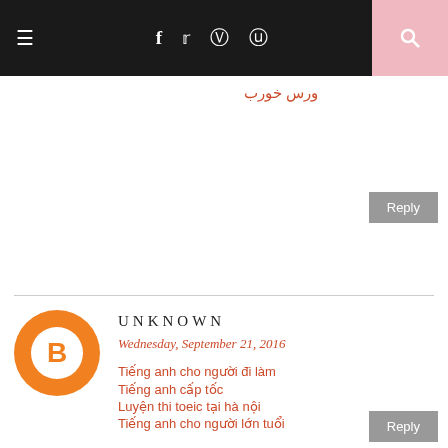Navigation bar with hamburger menu, social icons (f, twitter, instagram, pinterest), and search
ورس خورب
Reply
UNKNOWN
Wednesday, September 21, 2016
Tiếng anh cho người đi làm
Tiếng anh cấp tốc
Luyện thi toeic tại hà nội
Tiếng anh cho người lớn tuổi
Tiếng anh cho người mới bắt đầu
Học tiếng anh tại hà nội
Reply